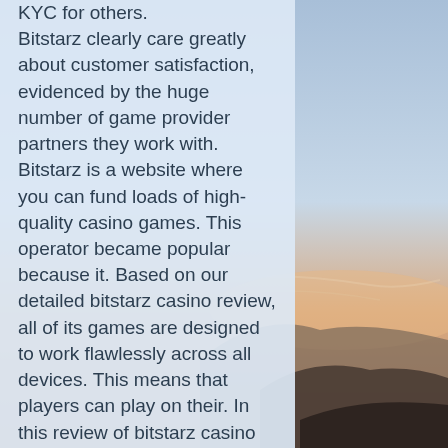[Figure (photo): Background landscape photo showing a sky with clouds and hills/mountains at the bottom, visible on the right side of the page behind the text panel.]
KYC for others. Bitstarz clearly care greatly about customer satisfaction, evidenced by the huge number of game provider partners they work with. Bitstarz is a website where you can fund loads of high-quality casino games. This operator became popular because it. Based on our detailed bitstarz casino review, all of its games are designed to work flawlessly across all devices. This means that players can play on their. In this review of bitstarz casino 2022 we will cover the following topics : software, deposit and withdrawal methods, currencies, bonuses. Bitstarz crypto casino has 3000+ online games to play using btc. Check our bitstarz review and find out more! Is bitstarz a legitimate casino? read our bitstarz review as we investigate and determine whether this casino is treating their customers fairly. Bitstarz mobile review ➡ bitstarz. Com best online casino safe &amp; legit, scam to sign up? ➤ read